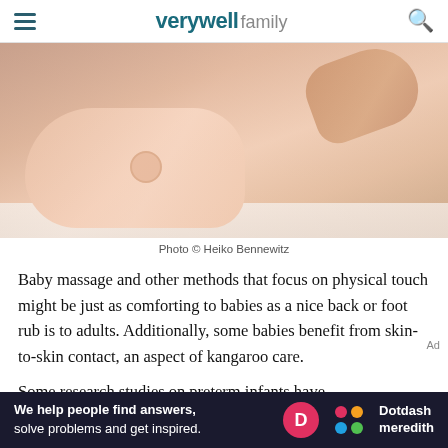verywell family
[Figure (photo): Close-up photo of a newborn baby lying on a white blanket being massaged by an adult hand. Photo © Heiko Bennewitz]
Photo © Heiko Bennewitz
Baby massage and other methods that focus on physical touch might be just as comforting to babies as a nice back or foot rub is to adults. Additionally, some babies benefit from skin-to-skin contact, an aspect of kangaroo care.
Some research studies on preterm infants have
[Figure (other): Dotdash Meredith advertisement banner: 'We help people find answers, solve problems and get inspired.']